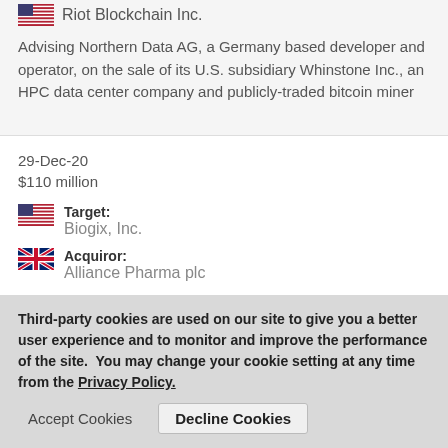Riot Blockchain Inc.
Advising Northern Data AG, a Germany based developer and operator, on the sale of its U.S. subsidiary Whinstone Inc., an HPC data center company and publicly-traded bitcoin miner
29-Dec-20
$110 million
Target: Biogix, Inc.
Acquiror: Alliance Pharma plc
Advised Biogix, Inc., a leader in the development, research and distribution in the U.S. under the flagship brand Amberen, on its sale to Alliance Pharma plc
Third-party cookies are used on our site to give you a better user experience and to monitor and improve the performance of the site. You may change your cookie setting at any time from the Privacy Policy.